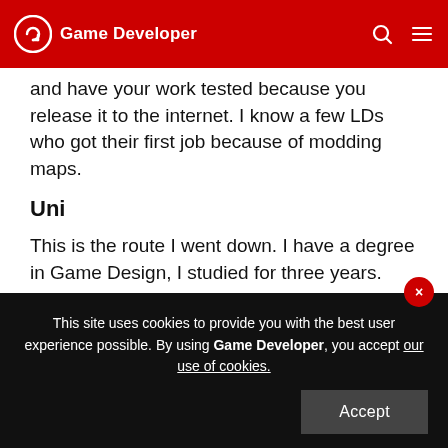Game Developer
and have your work tested because you release it to the internet. I know a few LDs who got their first job because of modding maps.
Uni
This is the route I went down. I have a degree in Game Design, I studied for three years. There are 1000s of universities around the world now offering degrees in game development, these can be extremely helpful in showing the right direction and offering you skills to gain a job in the game industry
This site uses cookies to provide you with the best user experience possible. By using Game Developer, you accept our use of cookies.